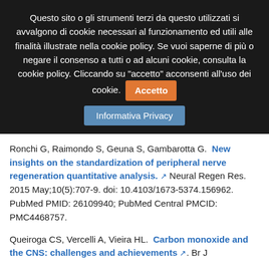Questo sito o gli strumenti terzi da questo utilizzati si avvalgono di cookie necessari al funzionamento ed utili alle finalità illustrate nella cookie policy. Se vuoi saperne di più o negare il consenso a tutti o ad alcuni cookie, consulta la cookie policy. Cliccando su "accetto" acconsenti all'uso dei cookie.  [Accetto]  [Informativa Privacy]
Ronchi G, Raimondo S, Geuna S, Gambarotta G.  New insights on the standardization of peripheral nerve regeneration quantitative analysis. ↗ Neural Regen Res. 2015 May;10(5):707-9. doi: 10.4103/1673-5374.156962. PubMed PMID: 26109940; PubMed Central PMCID: PMC4468757.
Queiroga CS, Vercelli A, Vieira HL.  Carbon monoxide and the CNS: challenges and achievements ↗. Br J